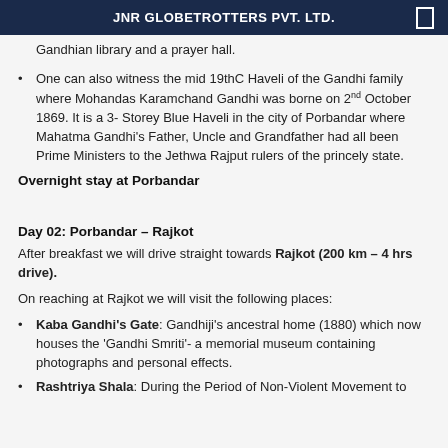JNR GLOBETROTTERS PVT. LTD.
...Gandhian library and a prayer hall.
One can also witness the mid 19thC Haveli of the Gandhi family where Mohandas Karamchand Gandhi was borne on 2nd October 1869. It is a 3- Storey Blue Haveli in the city of Porbandar where Mahatma Gandhi's Father, Uncle and Grandfather had all been Prime Ministers to the Jethwa Rajput rulers of the princely state.
Overnight stay at Porbandar
Day 02: Porbandar – Rajkot
After breakfast we will drive straight towards Rajkot (200 km – 4 hrs drive).
On reaching at Rajkot we will visit the following places:
Kaba Gandhi's Gate: Gandhiji's ancestral home (1880) which now houses the 'Gandhi Smriti'- a memorial museum containing photographs and personal effects.
Rashtriya Shala: During the Period of Non-Violent Movement to